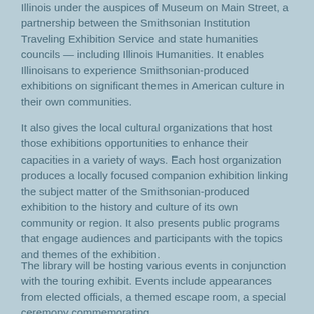Illinois under the auspices of Museum on Main Street, a partnership between the Smithsonian Institution Traveling Exhibition Service and state humanities councils — including Illinois Humanities. It enables Illinoisans to experience Smithsonian-produced exhibitions on significant themes in American culture in their own communities.
It also gives the local cultural organizations that host those exhibitions opportunities to enhance their capacities in a variety of ways. Each host organization produces a locally focused companion exhibition linking the subject matter of the Smithsonian-produced exhibition to the history and culture of its own community or region. It also presents public programs that engage audiences and participants with the topics and themes of the exhibition.
The library will be hosting various events in conjunction with the touring exhibit. Events include appearances from elected officials, a themed escape room, a special ceremony commemorating